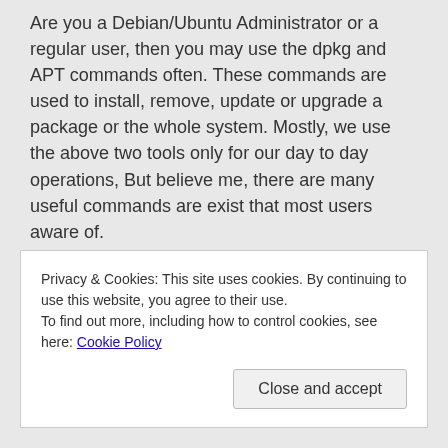Are you a Debian/Ubuntu Administrator or a regular user, then you may use the dpkg and APT commands often. These commands are used to install, remove, update or upgrade a package or the whole system. Mostly, we use the above two tools only for our day to day operations, But believe me, there are many useful commands are exist that most users aware of.
If you want to know which packages occupy the most disk space, or which package might have broken another, or to get a most recent version of a package, or just to get a particular version of a
Privacy & Cookies: This site uses cookies. By continuing to use this website, you agree to their use.
To find out more, including how to control cookies, see here: Cookie Policy